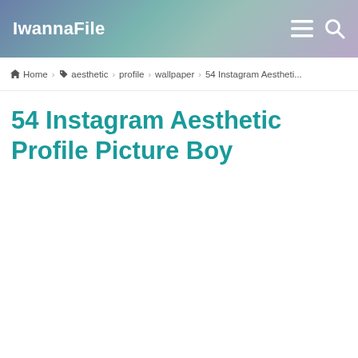IwannaFile
Home > aesthetic > profile > wallpaper > 54 Instagram Aestheti...
54 Instagram Aesthetic Profile Picture Boy